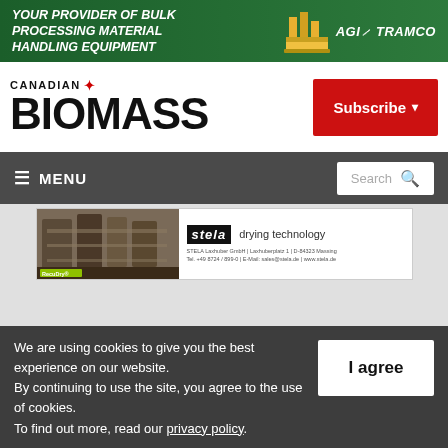[Figure (illustration): AGI Tramco advertisement banner: green background with bold white italic text 'YOUR PROVIDER OF BULK PROCESSING MATERIAL HANDLING EQUIPMENT' and AGI TRAMCO logo with machinery image on right]
[Figure (logo): Canadian Biomass logo: 'CANADIAN' in small caps with red maple leaf, 'BIOMASS' in large bold black letters]
[Figure (other): Red 'Subscribe' button with dropdown arrow]
[Figure (other): Dark gray navigation bar with hamburger menu icon and MENU text on left, white search box with magnifier on right]
[Figure (illustration): Stela Laxhuber drying technology advertisement with industrial dryer image on left and stela logo with contact info on right]
We are using cookies to give you the best experience on our website.
By continuing to use the site, you agree to the use of cookies.
To find out more, read our privacy policy.